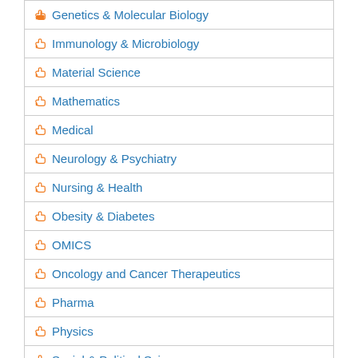Genetics & Molecular Biology
Immunology & Microbiology
Material Science
Mathematics
Medical
Neurology & Psychiatry
Nursing & Health
Obesity & Diabetes
OMICS
Oncology and Cancer Therapeutics
Pharma
Physics
Social & Political Science
Related Links
Dental Trauma